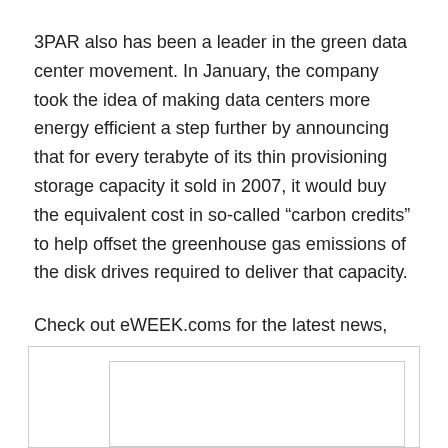3PAR also has been a leader in the green data center movement. In January, the company took the idea of making data centers more energy efficient a step further by announcing that for every terabyte of its thin provisioning storage capacity it sold in 2007, it would buy the equivalent cost in so-called “carbon credits” to help offset the greenhouse gas emissions of the disk drives required to deliver that capacity.
Check out eWEEK.coms for the latest news, reviews and analysis on enterprise and small business storage hardware and software.
[Figure (other): Advertisement box with a close button (x) in the upper right corner and an inner bordered content area.]